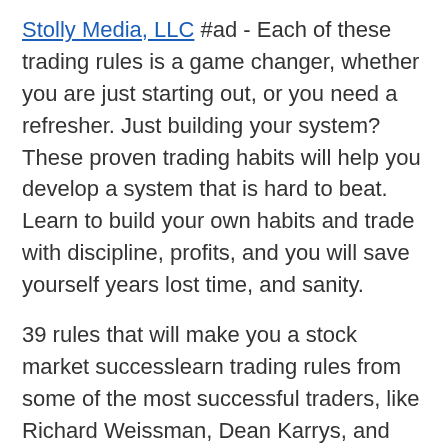Stolly Media, LLC #ad - Each of these trading rules is a game changer, whether you are just starting out, or you need a refresher. Just building your system?These proven trading habits will help you develop a system that is hard to beat. Learn to build your own habits and trade with discipline, profits, and you will save yourself years lost time, and sanity.
39 rules that will make you a stock market successlearn trading rules from some of the most successful traders, like Richard Weissman, Dean Karrys, and Paul Tudor Jones that will give you an edge in the markets. Benefit from someone with more than 20 years experience. Steve has done the research so you don't have to.